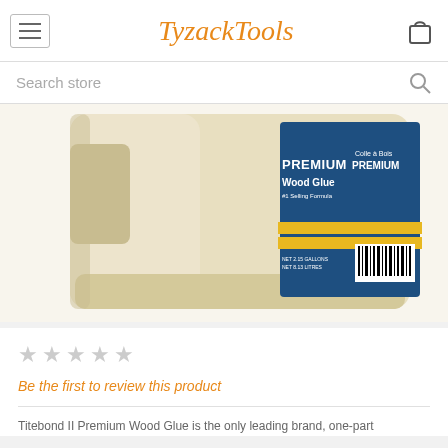TyzackTools
Search store
[Figure (photo): Large plastic jug of Titebond II Premium Wood Glue with blue label showing 'PREMIUM Wood Glue #1 Selling Formula' and 'Colle à Bois PREMIUM' in French, with yellow stripes and barcode.]
★★★★★ Be the first to review this product
Titebond II Premium Wood Glue is the only leading brand, one-part